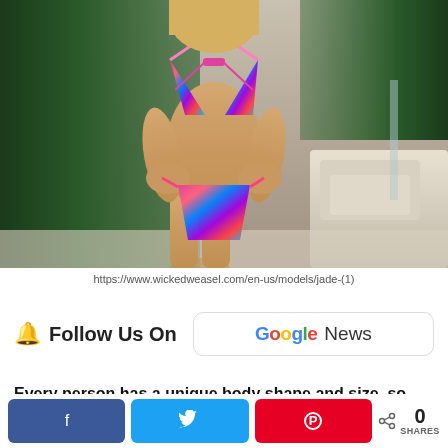[Figure (photo): Woman in colorful patterned bikini (top and bottom) standing with hands on hips near a pool area with outdoor furniture and tropical foliage in background]
https://www.wickedweasel.com/en-us/models/jade-(1)
[Figure (infographic): Follow Us On Google News call-to-action banner with bell/notification icon and Google News logo]
Every person has a unique body shape and size, so why
[Figure (infographic): Social share bar with Facebook, Twitter, Pinterest buttons and share count showing 0 SHARES]